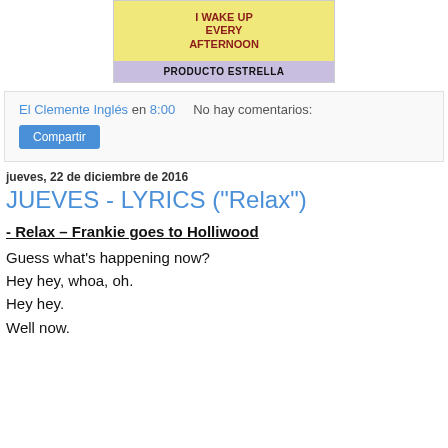[Figure (illustration): A blog post image with yellow background showing text 'I WAKE UP EVERY AFTERNOON' with illustrated figures, and a purple banner reading 'PRODUCTO ESTRELLA']
El Clemente Inglés en 8:00    No hay comentarios:
Compartir
jueves, 22 de diciembre de 2016
JUEVES - LYRICS ("Relax")
- Relax – Frankie goes to Holliwood
Guess what's happening now?
Hey hey, whoa, oh.
Hey hey.
Well now.